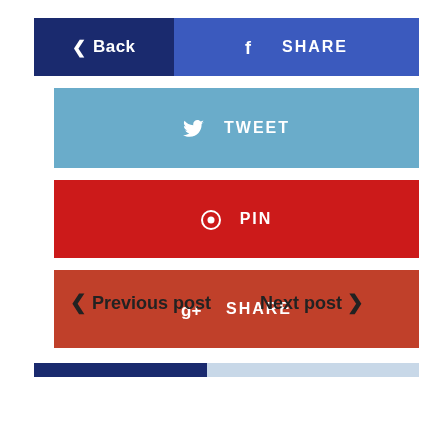[Figure (screenshot): Social share panel with Back button (dark navy), Facebook SHARE (blue), Twitter TWEET (light blue), Pinterest PIN (red), Google+ SHARE (dark red/brown) buttons]
< Back
f SHARE
TWEET
PIN
SHARE
< Previous post
Next post >
[Figure (infographic): Progress bar: dark navy fill on left (~45%), light blue/grey remainder on right]